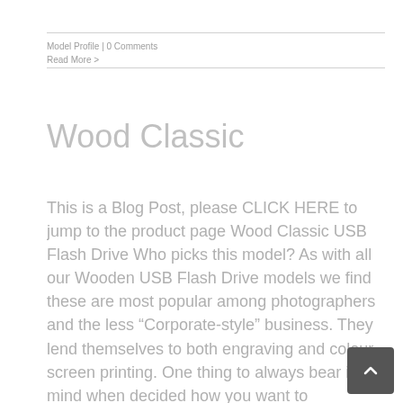Model Profile | 0 Comments
Read More >
Wood Classic
This is a Blog Post, please CLICK HERE to jump to the product page Wood Classic USB Flash Drive Who picks this model? As with all our Wooden USB Flash Drive models we find these are most popular among photographers and the less “Corporate-style” business. They lend themselves to both engraving and colour screen printing. One thing to always bear in mind when decided how you want to customise your USB Flash Drive is your